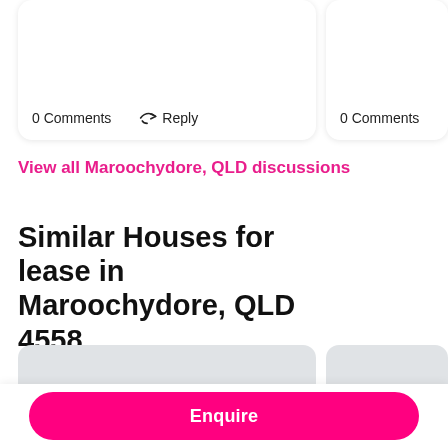0 Comments
Reply
0 Comments
View all Maroochydore, QLD discussions
Similar Houses for lease in Maroochydore, QLD 4558
[Figure (other): Placeholder listing card image (grey rectangle)]
[Figure (other): Placeholder listing card image (grey rectangle, partially visible)]
Enquire